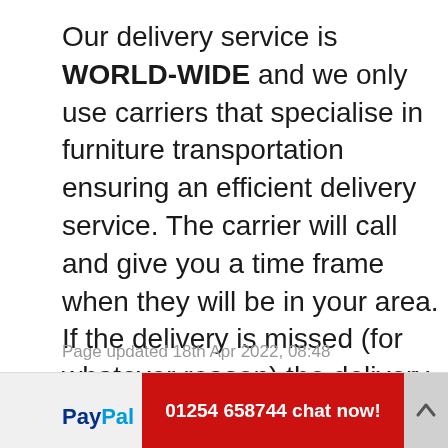Our delivery service is WORLD-WIDE and we only use carriers that specialise in furniture transportation ensuring an efficient delivery service. The carrier will call and give you a time frame when they will be in your area. If the delivery is missed (for whatever reason) the delivery is rescheduled within 7-10 working days. Please note that it is your responsibility that what you ordered fits into your home or work entrance.
Page updated 18th Apr 2022, 08:48